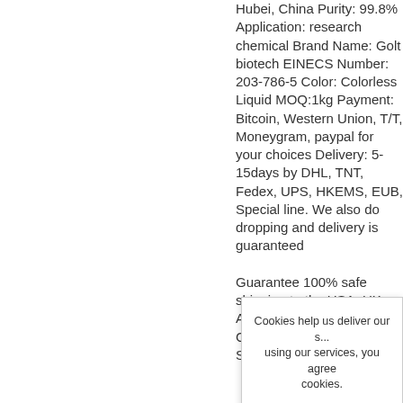Hubei, China Purity: 99.8% Application: research chemical Brand Name: Golt biotech EINECS Number: 203-786-5 Color: Colorless Liquid MOQ:1kg Payment: Bitcoin, Western Union, T/T, Moneygram, paypal for your choices Delivery: 5-15days by DHL, TNT, Fedex, UPS, HKEMS, EUB, Special line. We also do dropping and delivery is guaranteed
Guarantee 100% safe shipping to the USA, UK, Australia, the Netherlands, Canada, France, Germany, Spain, Belgium, Sweden.
Cookies help us deliver our s... using our services, you agree... cookies.